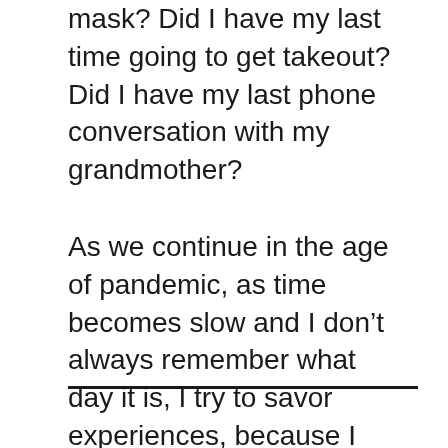mask? Did I have my last time going to get takeout? Did I have my last phone conversation with my grandmother?
As we continue in the age of pandemic, as time becomes slow and I don’t always remember what day it is, I try to savor experiences, because I don’t know what’s coming next. But I also don’t want to lose sight of what’s in front of me by trying to hold on so tight.